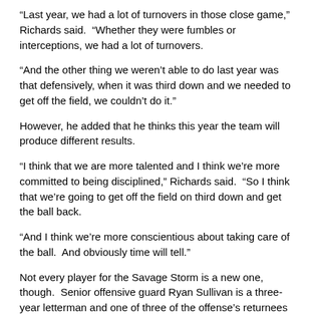“Last year, we had a lot of turnovers in those close game,” Richards said.  “Whether they were fumbles or interceptions, we had a lot of turnovers.
“And the other thing we weren’t able to do last year was that defensively, when it was third down and we needed to get off the field, we couldn’t do it.”
However, he added that he thinks this year the team will produce different results.
“I think that we are more talented and I think we’re more committed to being disciplined,” Richards said.  “So I think that we’re going to get off the field on third down and get the ball back.
“And I think we’re more conscientious about taking care of the ball.  And obviously time will tell.”
Not every player for the Savage Storm is a new one, though.  Senior offensive guard Ryan Sullivan is a three-year letterman and one of three of the offense’s returnees who plays on the offensive line.  He has also garnered preseason All-America honors.